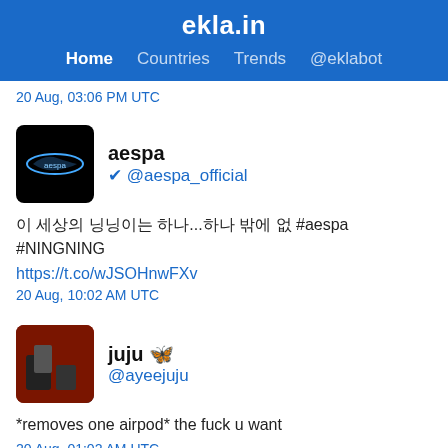ekla.in — Home Countries Trends @eklabot
20 Aug, 03:06 PM UTC
aespa @aespa_official
이 세상의 닝닝이는 하나...하나 밖에 없 #aespa #NINGNING https://t.co/wJSOHnwFXv
20 Aug, 10:02 AM UTC
juju 🦋 @ayeejuju
*removes one airpod* the fuck u want
20 Aug, 01:02 AM UTC